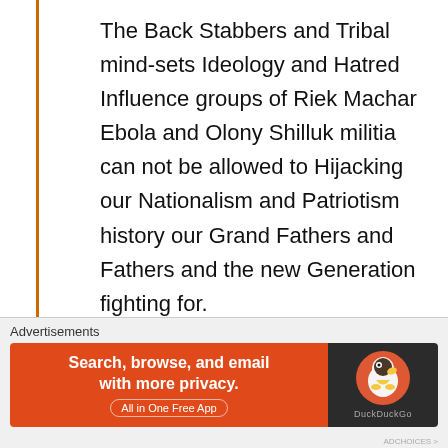The Back Stabbers and Tribal mindsets Ideology and Hatred Influence groups of Riek Machar Ebola and Olony Shilluk militia can not be allowed to Hijacking our Nationalism and Patriotism history our Grand Fathers and Fathers and the new Generation fighting for.
Please take note that and be well informed I am Here on this social website also to make sure that the real history of South Sudan and Nationalist
[Figure (infographic): DuckDuckGo advertisement banner: orange left side with text 'Search, browse, and email with more privacy. All in One Free App', dark right side with DuckDuckGo duck logo]